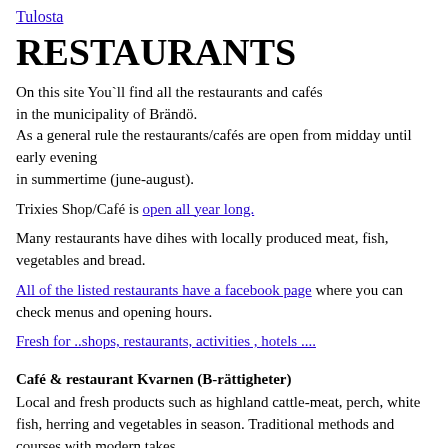Tulosta
RESTAURANTS
On this site You`ll find all the restaurants and cafés in the municipality of Brändö. As a general rule the restaurants/cafés are open from midday until early evening in summertime (june-august).
Trixies Shop/Café is open all year long.
Many restaurants have dihes with locally produced meat, fish, vegetables and bread.
All of the listed restaurants have a facebook page where you can check menus and opening hours.
Fresh for ..shops, restaurants, activities , hotels ....
Café & restaurant Kvarnen (B-rättigheter)
Local and fresh products such as highland cattle-meat, perch, white fish, herring and vegetables in season. Traditional methods and courses with modern takes